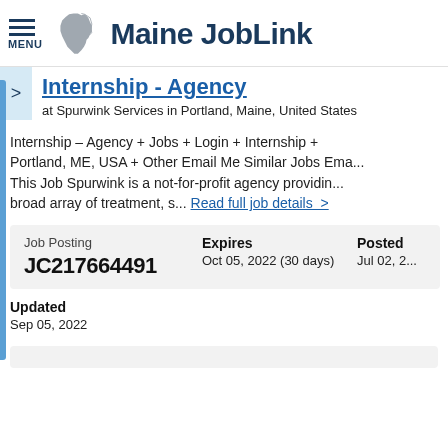Maine JobLink
Internship - Agency
at Spurwink Services in Portland, Maine, United States
Internship – Agency + Jobs + Login + Internship + Portland, ME, USA + Other Email Me Similar Jobs Ema... This Job Spurwink is a not-for-profit agency providin... broad array of treatment, s... Read full job details >
| Job Posting | Expires | Posted |
| --- | --- | --- |
| JC217664491 | Oct 05, 2022 (30 days) | Jul 02, 2... |
Updated
Sep 05, 2022